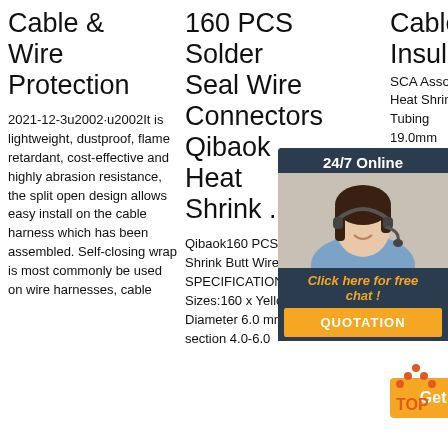Cable & Wire Protection
2021-12-3u2002·u2002It is lightweight, dustproof, flame retardant, cost-effective and highly abrasion resistance, the split open design allows easy install on the cable harness which has been assembled. Self-closing wrap is most commonly be used on wire harnesses, cable
160 PCS Solder Seal Wire Connectors Qibaok Heat Shrink ...
Qibaok160 PCS Solder Seal Heat Shrink Butt Wire Connectors SPECIFICATIONS: Color:Yellow Sizes:160 x Yellow Connectors: Diameter 6.0 mm, Cable cross-section 4.0-6.0
Cable Insulation
SCA Assorted Heat Shrink Tubing 19.0mm $15.99 ★★★★★ To Cart to you, today. SCA Assorted Heat Shrink Tubing - 9.5 - 19.0mm 120317.
[Figure (photo): Customer service representative with headset, smiling. Dark background with 24/7 Online header, orange Click here for free chat text, and QUOTATION button.]
[Figure (other): Orange Get Price button and TOP arrow navigation icon]